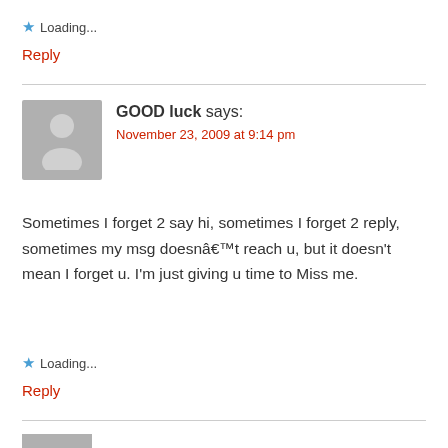★ Loading...
Reply
GOOD luck says: November 23, 2009 at 9:14 pm
Sometimes I forget 2 say hi, sometimes I forget 2 reply, sometimes my msg doesnâ€™t reach u, but it doesn't mean I forget u. I'm just giving u time to Miss me.
★ Loading...
Reply